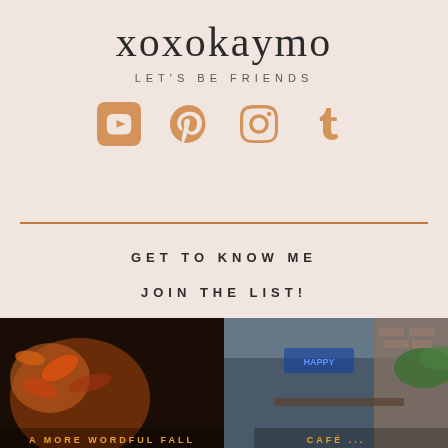xoxokaymo
LET'S BE FRIENDS
[Figure (infographic): Four social media icons: YouTube, Pinterest, Instagram, Tumblr in golden/tan color]
GET TO KNOW ME
JOIN THE LIST!
CONTACT
SHOP
[Figure (photo): Two photos side by side at bottom: left shows warm autumn/fall scene with orange leaves and dark background; right shows a cafe/restaurant interior with blue neon sign and brick wall with green plant]